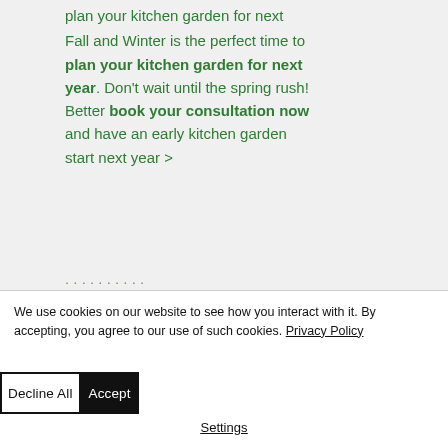Fall and Winter is the perfect time to plan your kitchen garden for next year. Don't wait until the spring rush! Better book your consultation now and have an early kitchen garden start next year >
We use cookies on our website to see how you interact with it. By accepting, you agree to our use of such cookies. Privacy Policy
Decline All
Accept
Settings